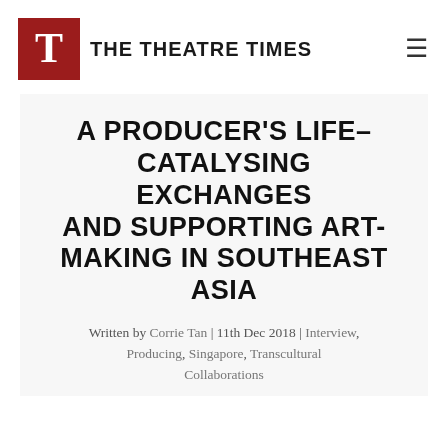THE THEATRE TIMES
A PRODUCER'S LIFE– CATALYSING EXCHANGES AND SUPPORTING ART-MAKING IN SOUTHEAST ASIA
Written by Corrie Tan | 11th Dec 2018 | Interview, Producing, Singapore, Transcultural Collaborations